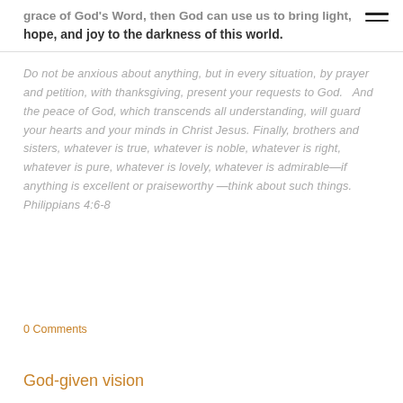grace of God's Word, then God can use us to bring light, hope, and joy to the darkness of this world.
Do not be anxious about anything, but in every situation, by prayer and petition, with thanksgiving, present your requests to God. And the peace of God, which transcends all understanding, will guard your hearts and your minds in Christ Jesus. Finally, brothers and sisters, whatever is true, whatever is noble, whatever is right, whatever is pure, whatever is lovely, whatever is admirable—if anything is excellent or praiseworthy—think about such things. Philippians 4:6-8
0 Comments
God-given vision